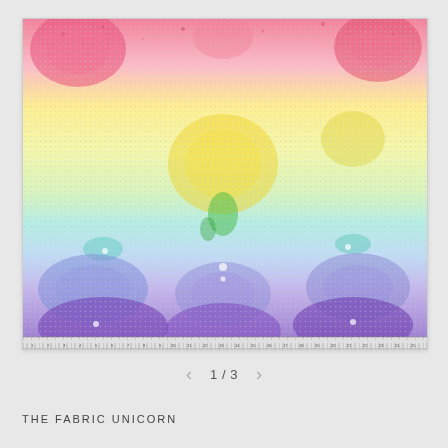[Figure (photo): Rainbow-gradient fabric swatch showing paisley and floral patterns in a spectrum from red/pink at the top, through yellow, green, teal, blue, to purple at the bottom. The fabric has a dotted/mesh texture overlay and a ruler/measurement edge along the bottom.]
1 / 3
THE FABRIC UNICORN